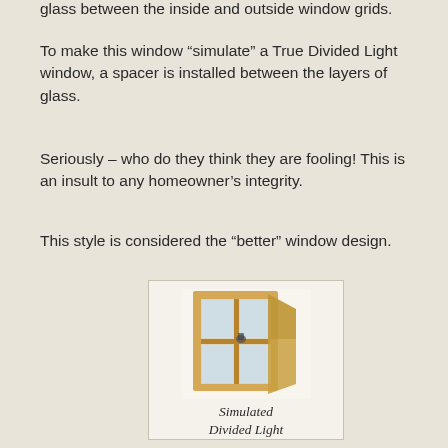glass between the inside and outside window grids.
To make this window “simulate” a True Divided Light window, a spacer is installed between the layers of glass.
Seriously – who do they think they are fooling! This is an insult to any homeowner’s integrity.
This style is considered the “better” window design.
[Figure (photo): Photo of a simulated divided light window showing wooden frame with glass panes and dividers, viewed at an angle]
Simulated Divided Light